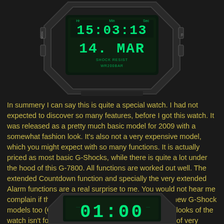[Figure (photo): Close-up photo of a Casio G-Shock G-7800 digital watch face showing time 15:03:13, date 14. MAR, with green LCD display on dark background. Text reads SHOCK RESIST and WR200BAR.]
In summery I can say this is quite a special watch. I had not expected to discover so many features, before I got this watch. It was released as a pretty much basic model for 2009 with a somewhat fashion look. It's also not a very expensive model, which you might expect with so many functions. It is actually priced as most basic G-Shocks, while there is quite a lot under the hood of this G-7800. All functions are worked out well. The extended Countdown function and specially the very extended Alarm functions are a real surprise to me. You would not hear me complain if these extended functions will appear on new G-Shock models too (Oh, yes, please, Casio, do!). Maybe the looks of the watch isn't for everyone, the watch itself is a product of very innovative design. A big THANK YOU! goes out to Tribe. Without him this article would have been impossible.
[Figure (photo): Bottom portion of a Casio G-Shock watch showing green LCD display with digits visible, partially cut off at bottom of page.]